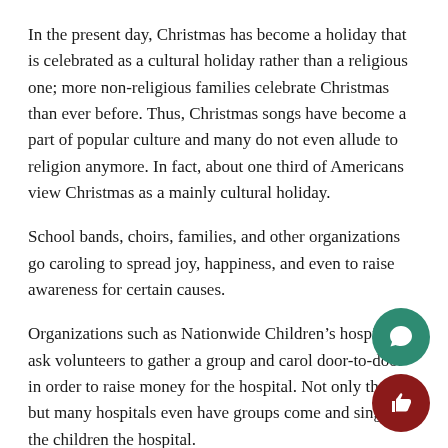In the present day, Christmas has become a holiday that is celebrated as a cultural holiday rather than a religious one; more non-religious families celebrate Christmas than ever before. Thus, Christmas songs have become a part of popular culture and many do not even allude to religion anymore. In fact, about one third of Americans view Christmas as a mainly cultural holiday.
School bands, choirs, families, and other organizations go caroling to spread joy, happiness, and even to raise awareness for certain causes.
Organizations such as Nationwide Children’s hospital ask volunteers to gather a group and carol door-to-door in order to raise money for the hospital. Not only that, but many hospitals even have groups come and sing to the children the hospital.
However, all of this begs the question of why it seems as